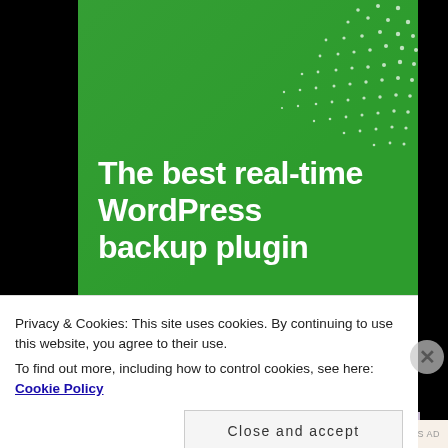[Figure (illustration): Green background banner with white dot pattern in upper right and diagonal light overlay, showing WordPress backup plugin advertisement]
The best real-time WordPress backup plugin
Privacy & Cookies: This site uses cookies. By continuing to use this website, you agree to their use.
To find out more, including how to control cookies, see here: Cookie Policy
Close and accept